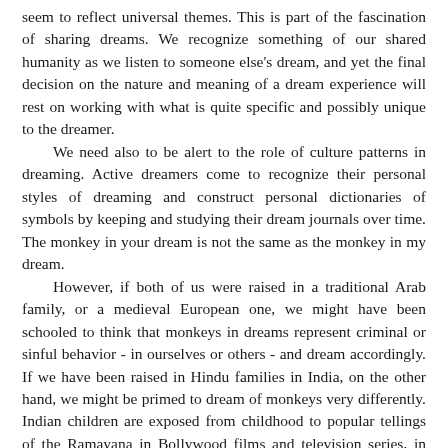seem to reflect universal themes. This is part of the fascination of sharing dreams. We recognize something of our shared humanity as we listen to someone else's dream, and yet the final decision on the nature and meaning of a dream experience will rest on working with what is quite specific and possibly unique to the dreamer.
	We need also to be alert to the role of culture patterns in dreaming. Active dreamers come to recognize their personal styles of dreaming and construct personal dictionaries of symbols by keeping and studying their dream journals over time. The monkey in your dream is not the same as the monkey in my dream.
	However, if both of us were raised in a traditional Arab family, or a medieval European one, we might have been schooled to think that monkeys in dreams represent criminal or sinful behavior - in ourselves or others - and dream accordingly. If we have been raised in Hindu families in India, on the other hand, we might be primed to dream of monkeys very differently. Indian children are exposed from childhood to popular tellings of the Ramayana in Bollywood films and television series, in comic books, in school plays and from sidewalk storytellers. This might well leave a shared impression that monkey dreams are auspicious. Why? Because in the perennially popular epic the Ramayana the monkey god Hanuman helps Rama to destroy the demon king of Lanka. He